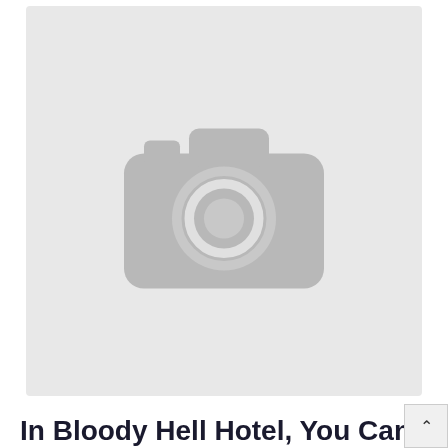[Figure (photo): Placeholder image with a grey background and a grey camera icon in the center, indicating a missing or unavailable photo.]
In Bloody Hell Hotel, You Can